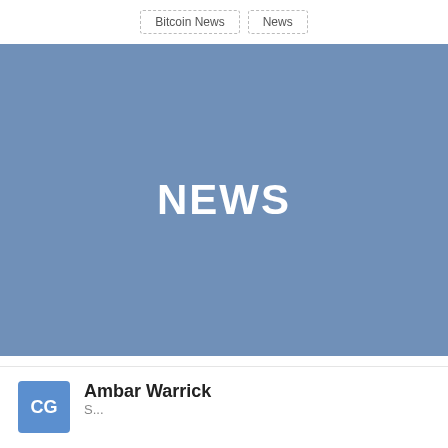Bitcoin News   News
[Figure (illustration): Blue rectangular banner image with white bold text 'NEWS' centered on it]
Ambar Warrick
CG